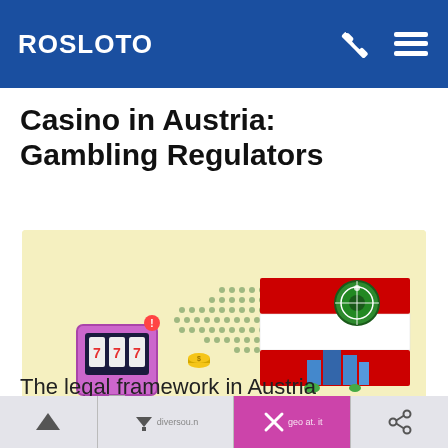ROSLOTO
Casino in Austria: Gambling Regulators
[Figure (illustration): Illustration showing Austrian flag (red-white-red horizontal stripes) overlaid on a dotted map of Austria, with a slot machine on the left side and casino/city icons on the right, on a pale yellow background.]
The legal framework in Austria
diversou.n geo at. its